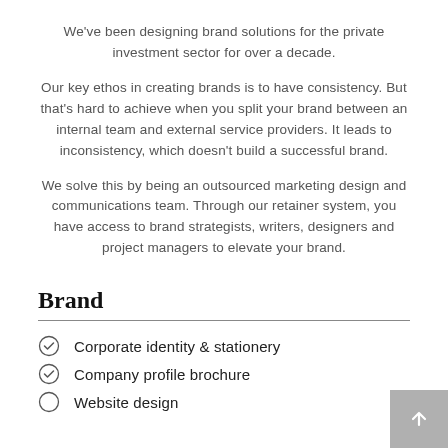We've been designing brand solutions for the private investment sector for over a decade.
Our key ethos in creating brands is to have consistency. But that's hard to achieve when you split your brand between an internal team and external service providers. It leads to inconsistency, which doesn't build a successful brand.
We solve this by being an outsourced marketing design and communications team. Through our retainer system, you have access to brand strategists, writers, designers and project managers to elevate your brand.
Brand
Corporate identity & stationery
Company profile brochure
Website design